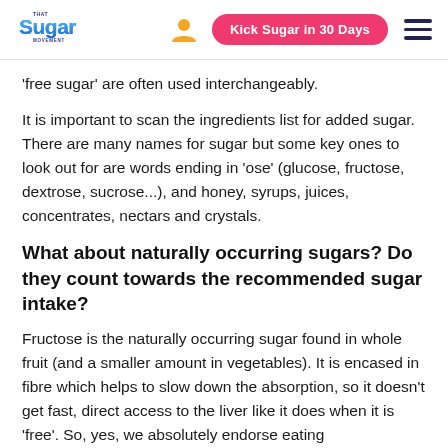That Sugar Movement — Kick Sugar in 30 Days
'free sugar' are often used interchangeably.
It is important to scan the ingredients list for added sugar. There are many names for sugar but some key ones to look out for are words ending in 'ose' (glucose, fructose, dextrose, sucrose...), and honey, syrups, juices, concentrates, nectars and crystals.
What about naturally occurring sugars? Do they count towards the recommended sugar intake?
Fructose is the naturally occurring sugar found in whole fruit (and a smaller amount in vegetables). It is encased in fibre which helps to slow down the absorption, so it doesn't get fast, direct access to the liver like it does when it is 'free'. So, yes, we absolutely endorse eating